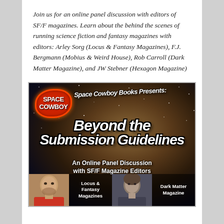Join us for an online panel discussion with editors of SF/F magazines. Learn about the behind the scenes of running science fiction and fantasy magazines with editors: Arley Sorg (Locus & Fantasy Magazines), F.J. Bergmann (Mobius & Weird House), Rob Carroll (Dark Matter Magazine), and JW Stebner (Hexagon Magazine)
[Figure (illustration): Space Cowboy Books promotional image for 'Beyond the Submission Guidelines: An Online Panel Discussion with SF/F Magazine Editors'. Features a starfield/nebula space background, Space Cowboy logo badge in red, stylized white title text, and photos of editors with labels for Locus & Fantasy Magazines and Dark Matter Magazine.]